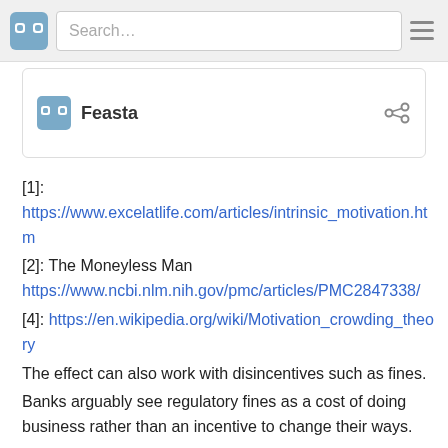Search…
Feasta
[1]:
https://www.excelatlife.com/articles/intrinsic_motivation.htm
[2]: The Moneyless Man
https://www.ncbi.nlm.nih.gov/pmc/articles/PMC2847338/
[4]: https://en.wikipedia.org/wiki/Motivation_crowding_theory
The effect can also work with disincentives such as fines.
Banks arguably see regulatory fines as a cost of doing business rather than an incentive to change their ways.
[5]: The classic unintended consequence: The Cobra Effect
https://en.wikipedia.org/wiki/Cobra_effect
[6]: It's antepenultimate a smart*ss tells me. Its the one after